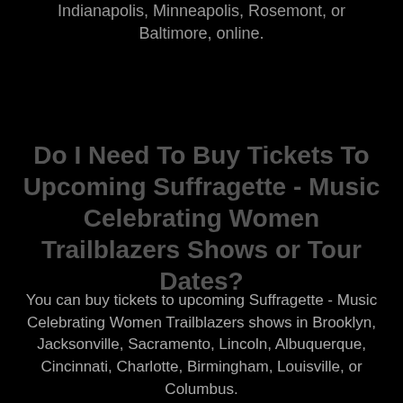Indianapolis, Minneapolis, Rosemont, or Baltimore, online.
Do I Need To Buy Tickets To Upcoming Suffragette - Music Celebrating Women Trailblazers Shows or Tour Dates?
You can buy tickets to upcoming Suffragette - Music Celebrating Women Trailblazers shows in Brooklyn, Jacksonville, Sacramento, Lincoln, Albuquerque, Cincinnati, Charlotte, Birmingham, Louisville, or Columbus.